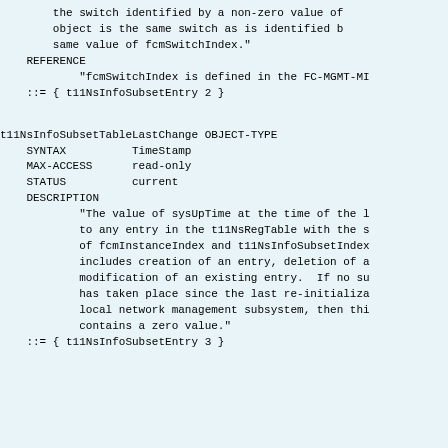the switch identified by a non-zero value of object is the same switch as is identified b same value of fcmSwitchIndex."
    REFERENCE
            "fcmSwitchIndex is defined in the FC-MGMT-MI
    ::= { t11NsInfoSubsetEntry 2 }
t11NsInfoSubsetTableLastChange OBJECT-TYPE
    SYNTAX          TimeStamp
    MAX-ACCESS      read-only
    STATUS          current
    DESCRIPTION
            "The value of sysUpTime at the time of the l to any entry in the t11NsRegTable with the s of fcmInstanceIndex and t11NsInfoSubsetIndex includes creation of an entry, deletion of a modification of an existing entry.  If no su has taken place since the last re-initializa local network management subsystem, then thi contains a zero value."
    ::= { t11NsInfoSubsetEntry 3 }